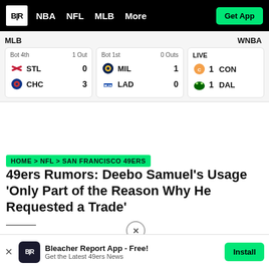B|R  NBA  NFL  MLB  More  Get App
| MLB |  |  | WNBA |
| --- | --- | --- | --- |
| Bot 4th | 1 Out |  |  |
| STL | 0 |  |  |
| CHC | 3 |  |  |
| Bot 1st | 0 Outs |  |  |
| MIL | 1 |  |  |
| LAD | 0 |  |  |
| LIVE |  |  |  |
| 1 CON |  |  |  |
| 1 DAL |  |  |  |
HOME > NFL > SAN FRANCISCO 49ERS
49ers Rumors: Deebo Samuel's Usage 'Only Part of the Reason Why He Requested a Trade'
Bleacher Report App - Free! Get the Latest 49ers News  Install